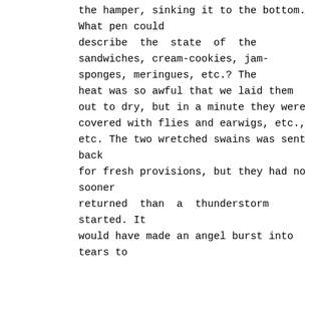the hamper, sinking it to the bottom. What pen could describe the state of the sandwiches, cream-cookies, jam-sponges, meringues, etc.? The heat was so awful that we laid them out to dry, but in a minute they were covered with flies and earwigs, etc., etc. The two wretched swains was sent back for fresh provisions, but they had no sooner returned than a thunderstorm started. It would have made an angel burst into tears to